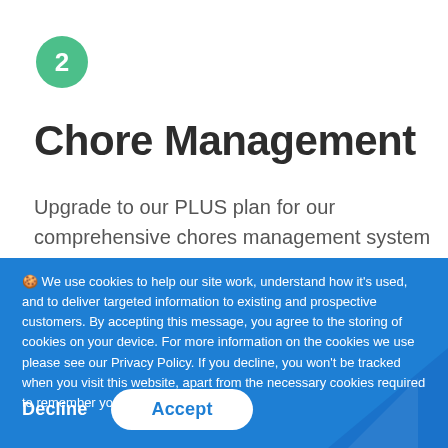2
Chore Management
Upgrade to our PLUS plan for our comprehensive chores management system so you can encourage
🍪 We use cookies to help our site work, understand how it's used, and to deliver targeted information to existing and prospective customers. By accepting this message, you agree to the storing of cookies on your device. For more information on the cookies we use please see our Privacy Policy. If you decline, you won't be tracked when you visit this website, apart from the necessary cookies required to remember your preference.
Decline   Accept